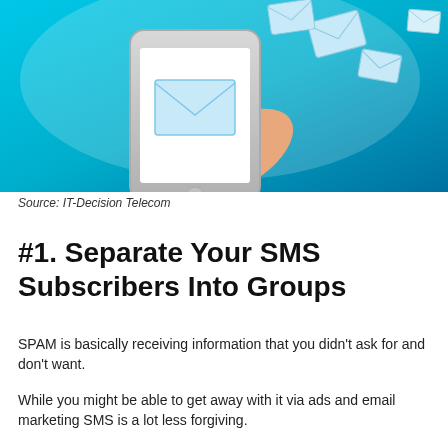[Figure (photo): A hand holding a smartphone with email/envelope icons flying out of the screen, on a blue background — illustrating SMS/messaging concept.]
Source: IT-Decision Telecom
#1. Separate Your SMS Subscribers Into Groups
SPAM is basically receiving information that you didn't ask for and don't want.
While you might be able to get away with it via ads and email marketing SMS is a lot less forgiving.